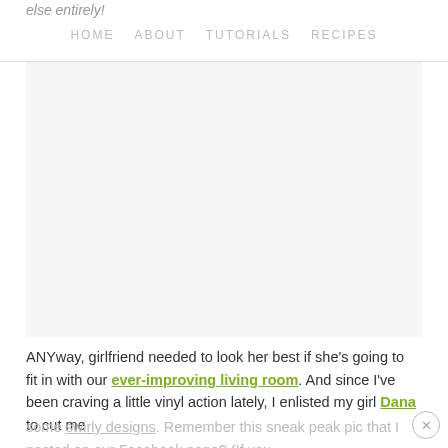else entirely!   HOME   ABOUT   TUTORIALS   RECIPES
[Figure (photo): Large image placeholder area, light gray background]
ANYway, girlfriend needed to look her best if she's going to fit in with our ever-improving living room. And since I've been craving a little vinyl action lately, I enlisted my girl Dana to cut me some swirly designs. Remember this sneak peak pic that I posted on our Facebook page? (If you